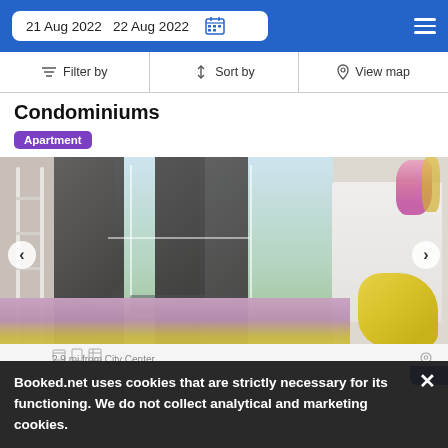21 Aug 2022  22 Aug 2022
Filter by  Sort by  View map
Condominiums
Apartment
[Figure (photo): Interior photo of a condominium room with grey curtains, window with view, white desk and chair, decorative flowers, and colourful bed in foreground]
2.9 mi from City Center
Booked.net uses cookies that are strictly necessary for its functioning. We do not collect analytical and marketing cookies.